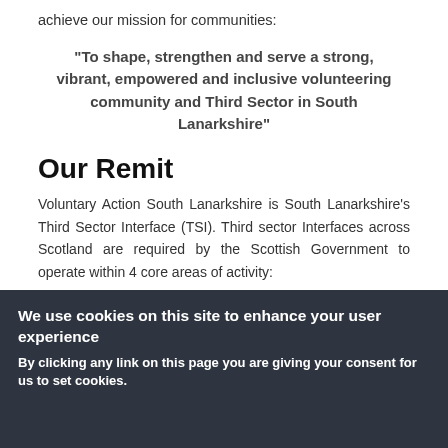achieve our mission for communities:
"To shape, strengthen and serve a strong, vibrant, empowered and inclusive volunteering community and Third Sector in South Lanarkshire"
Our Remit
Voluntary Action South Lanarkshire is South Lanarkshire’s Third Sector Interface (TSI). Third sector Interfaces across Scotland are required by the Scottish Government to operate within 4 core areas of activity:
Volunteering development
We use cookies on this site to enhance your user experience
By clicking any link on this page you are giving your consent for us to set cookies.